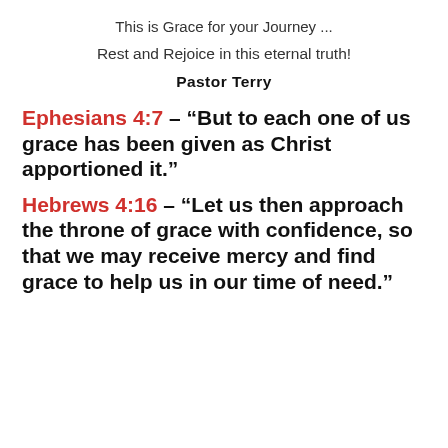This is Grace for your Journey ...
Rest and Rejoice in this eternal truth!
Pastor Terry
Ephesians 4:7 – “But to each one of us grace has been given as Christ apportioned it.”
Hebrews 4:16 – “Let us then approach the throne of grace with confidence, so that we may receive mercy and find grace to help us in our time of need.”